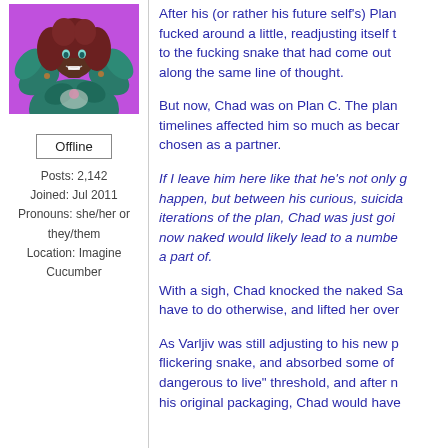[Figure (illustration): Anime-style character with dark skin, red-brown hair, teal leafy costume, smiling, on purple background]
Offline
Posts: 2,142
Joined: Jul 2011
Pronouns: she/her or they/them
Location: Imagine Cucumber
After his (or rather his future self's) Plan fucked around a little, readjusting itself t to the fucking snake that had come out along the same line of thought.
But now, Chad was on Plan C. The plan timelines affected him so much as becan chosen as a partner.
If I leave him here like that he's not only g happen, but between his curious, suicida iterations of the plan, Chad was just goi now naked would likely lead to a numbe a part of.
With a sigh, Chad knocked the naked Sa have to do otherwise, and lifted her over
As Varljiv was still adjusting to his new p flickering snake, and absorbed some of dangerous to live" threshold, and after n his original packaging, Chad would have